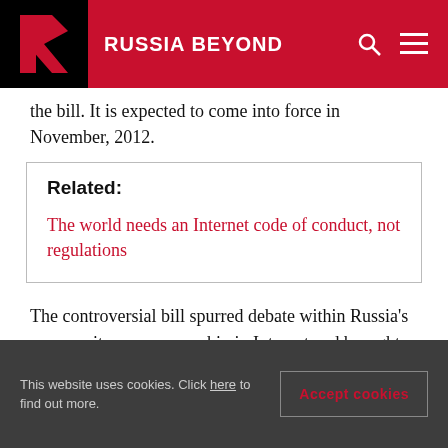RUSSIA BEYOND
the bill. It is expected to come into force in November, 2012.
Related:
The world needs an Internet code of conduct, not regulations
The controversial bill spurred debate within Russia's community over censorship in Internet and brought about a lot of indignation among Russia's popular search engines such. For
This website uses cookies. Click here to find out more.